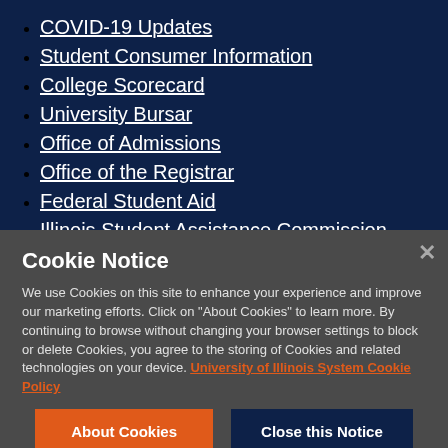COVID-19 Updates
Student Consumer Information
College Scorecard
University Bursar
Office of Admissions
Office of the Registrar
Federal Student Aid
Illinois Student Assistance Commission
Cookie Notice
We use Cookies on this site to enhance your experience and improve our marketing efforts. Click on "About Cookies" to learn more. By continuing to browse without changing your browser settings to block or delete Cookies, you agree to the storing of Cookies and related technologies on your device. University of Illinois System Cookie Policy
About Cookies
Close this Notice